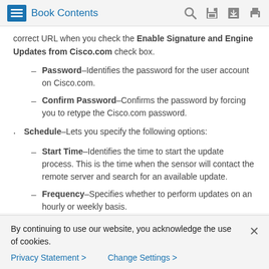Book Contents
correct URL when you check the Enable Signature and Engine Updates from Cisco.com check box.
Password–Identifies the password for the user account on Cisco.com.
Confirm Password–Confirms the password by forcing you to retype the Cisco.com password.
Schedule–Lets you specify the following options:
Start Time–Identifies the time to start the update process. This is the time when the sensor will contact the remote server and search for an available update.
Frequency–Specifies whether to perform updates on an hourly or weekly basis.
By continuing to use our website, you acknowledge the use of cookies.
Privacy Statement > Change Settings >